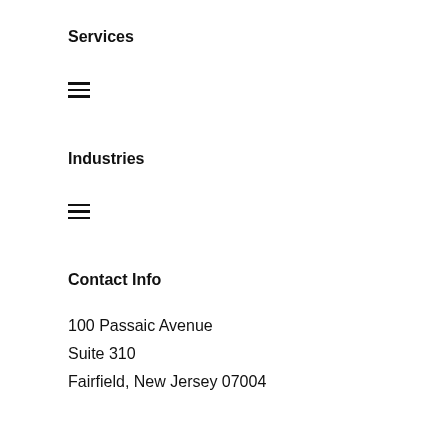Services
[Figure (other): Hamburger menu icon (three horizontal lines) below Services heading]
Industries
[Figure (other): Hamburger menu icon (three horizontal lines) below Industries heading]
Contact Info
100 Passaic Avenue
Suite 310
Fairfield, New Jersey 07004